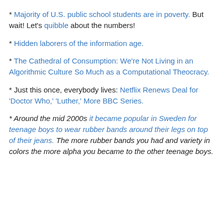* Majority of U.S. public school students are in poverty. But wait! Let's quibble about the numbers!
* Hidden laborers of the information age.
* The Cathedral of Consumption: We're Not Living in an Algorithmic Culture So Much as a Computational Theocracy.
* Just this once, everybody lives: Netflix Renews Deal for 'Doctor Who,' 'Luther,' More BBC Series.
* Around the mid 2000s it became popular in Sweden for teenage boys to wear rubber bands around their legs on top of their jeans. The more rubber bands you had and variety in colors the more alpha you became to the other teenage boys.